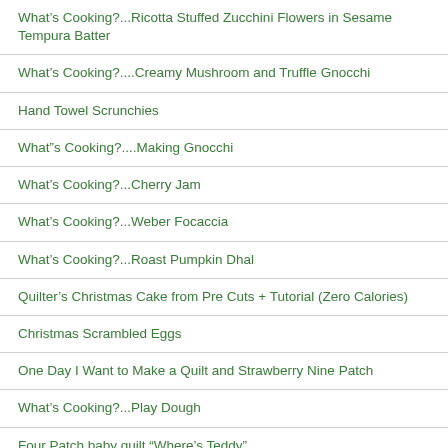What’s Cooking?...Ricotta Stuffed Zucchini Flowers in Sesame Tempura Batter
What’s Cooking?....Creamy Mushroom and Truffle Gnocchi
Hand Towel Scrunchies
What”s Cooking?....Making Gnocchi
What’s Cooking?...Cherry Jam
What’s Cooking?...Weber Focaccia
What’s Cooking?...Roast Pumpkin Dhal
Quilter’s Christmas Cake from Pre Cuts + Tutorial (Zero Calories)
Christmas Scrambled Eggs
One Day I Want to Make a Quilt and Strawberry Nine Patch
What’s Cooking?...Play Dough
Four Patch baby quilt “Where’s Teddy”